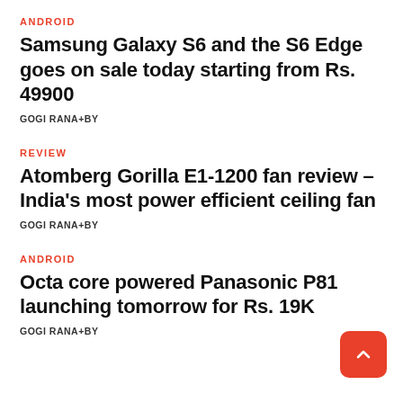ANDROID
Samsung Galaxy S6 and the S6 Edge goes on sale today starting from Rs. 49900
GOGI RANA+BY
REVIEW
Atomberg Gorilla E1-1200 fan review – India's most power efficient ceiling fan
GOGI RANA+BY
ANDROID
Octa core powered Panasonic P81 launching tomorrow for Rs. 19K
GOGI RANA+BY